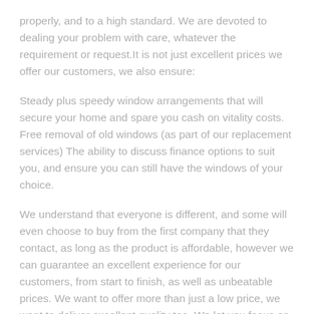properly, and to a high standard. We are devoted to dealing your problem with care, whatever the requirement or request.It is not just excellent prices we offer our customers, we also ensure:
Steady plus speedy window arrangements that will secure your home and spare you cash on vitality costs. Free removal of old windows (as part of our replacement services) The ability to discuss finance options to suit you, and ensure you can still have the windows of your choice.
We understand that everyone is different, and some will even choose to buy from the first company that they contact, as long as the product is affordable, however we can guarantee an excellent experience for our customers, from start to finish, as well as unbeatable prices. We want to offer more than just a low price, we want to deliver excellent quality too. We let you focus on the things that matter to you by providing you with the ideal combination of quality and savings.